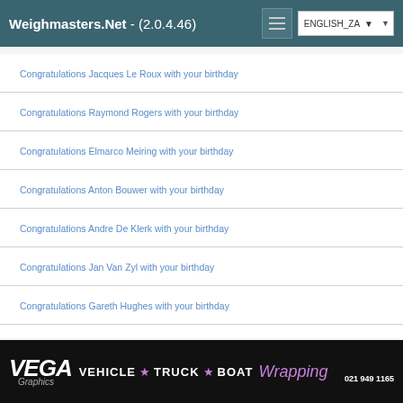Weighmasters.Net - (2.0.4.46) ENGLISH_ZA
Congratulations Jacques Le Roux with your birthday
Congratulations Raymond Rogers with your birthday
Congratulations Elmarco Meiring with your birthday
Congratulations Anton Bouwer with your birthday
Congratulations Andre De Klerk with your birthday
Congratulations Jan Van Zyl with your birthday
Congratulations Gareth Hughes with your birthday
Wayne Howroyd Entered RPA CLUB COMPETITION
Tyron Brett Entered RPA CLUB COMPETITION
VEGA Graphics VEHICLE ★ TRUCK ★ BOAT Wrapping 021 949 1165